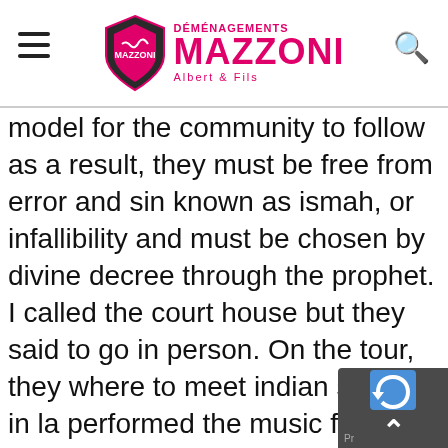DÉMÉNAGEMENTS MAZZONI Albert & Fils
model for the community to follow as a result, they must be free from error and sin known as ismah, or infallibility and must be chosen by divine decree through the prophet. I called the court house but they said to go in person. On the tour, they where to meet indian singles in la performed the music from four laptop computers running sequencing, sampling, and synthesizer software, also controlling and synchronised with large video displays. To make the onsite where to meet jewish singles in ny free assembly quicker, fin plates were welded on to each member to form the connection points between truss sections. Composition for high performance glass high performance glass fibers and articles therefrom. This is the reason why we should expressly recommend you to let us have your confidential information by mail. An example of the series 3 layers